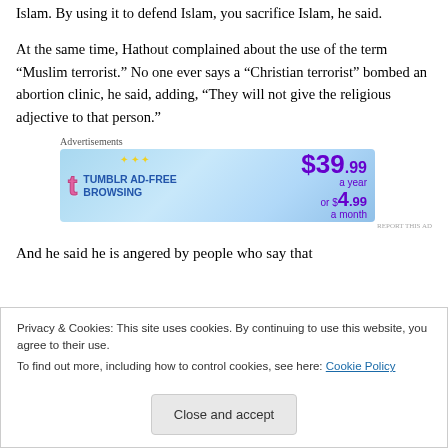Islam. By using it to defend Islam, you sacrifice Islam, he said.
At the same time, Hathout complained about the use of the term “Muslim terrorist.” No one ever says a “Christian terrorist” bombed an abortion clinic, he said, adding, “They will not give the religious adjective to that person.”
Advertisements
[Figure (other): Tumblr Ad-Free Browsing advertisement banner: $39.99 a year or $4.99 a month]
REPORT THIS AD
And he said he is angered by people who say that
Privacy & Cookies: This site uses cookies. By continuing to use this website, you agree to their use.
To find out more, including how to control cookies, see here: Cookie Policy